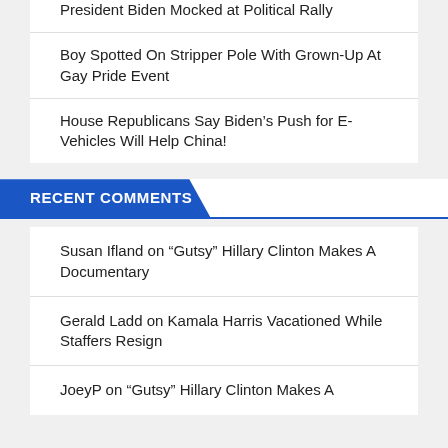President Biden Mocked at Political Rally
Boy Spotted On Stripper Pole With Grown-Up At Gay Pride Event
House Republicans Say Biden’s Push for E-Vehicles Will Help China!
RECENT COMMENTS
Susan Ifland on “Gutsy” Hillary Clinton Makes A Documentary
Gerald Ladd on Kamala Harris Vacationed While Staffers Resign
JoeyP on “Gutsy” Hillary Clinton Makes A